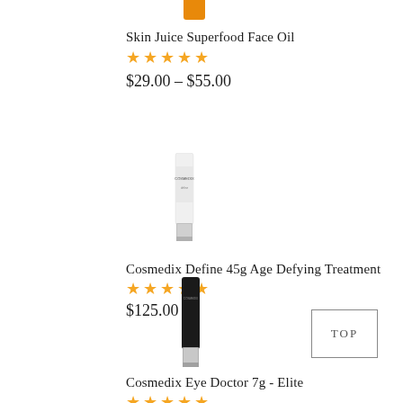[Figure (photo): Partial orange/amber bottle of Skin Juice Superfood Face Oil at top of page]
Skin Juice Superfood Face Oil
★★★★★
$29.00 – $55.00
[Figure (photo): White tube with silver cap - Cosmedix Define 45g Age Defying Treatment]
Cosmedix Define 45g Age Defying Treatment
★★★★★
$125.00
[Figure (photo): Black tube with silver cap - Cosmedix Eye Doctor 7g Elite]
Cosmedix Eye Doctor 7g - Elite
★★★★★
TOP